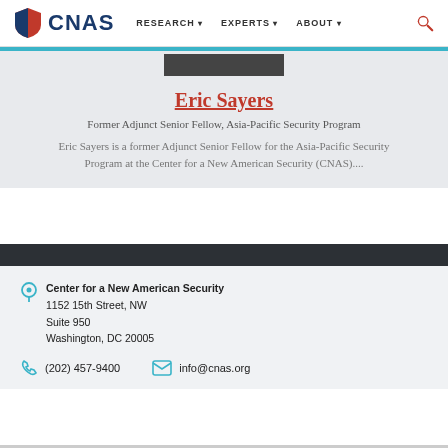CNAS — RESEARCH | EXPERTS | ABOUT
Eric Sayers
Former Adjunct Senior Fellow, Asia-Pacific Security Program
Eric Sayers is a former Adjunct Senior Fellow for the Asia-Pacific Security Program at the Center for a New American Security (CNAS)....
Center for a New American Security
1152 15th Street, NW
Suite 950
Washington, DC 20005
(202) 457-9400
info@cnas.org